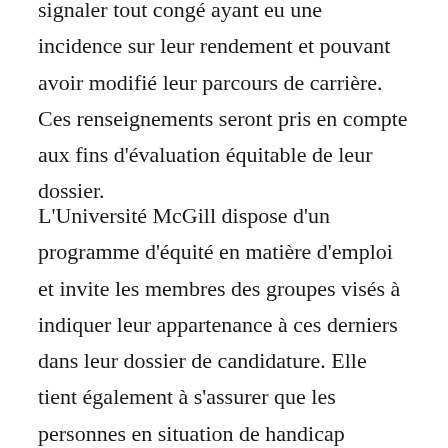signaler tout congé ayant eu une incidence sur leur rendement et pouvant avoir modifié leur parcours de carrière. Ces renseignements seront pris en compte aux fins d'évaluation équitable de leur dossier.
L'Université McGill dispose d'un programme d'équité en matière d'emploi et invite les membres des groupes visés à indiquer leur appartenance à ces derniers dans leur dossier de candidature. Elle tient également à s'assurer que les personnes en situation de handicap reçoivent un traitement équitable et puissent